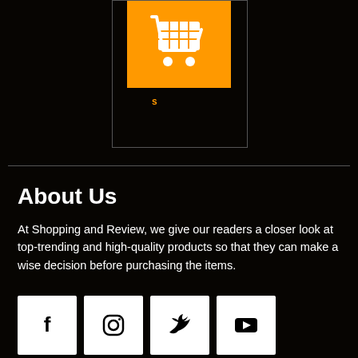[Figure (logo): Orange shopping cart logo icon on orange background square]
s
About Us
At Shopping and Review, we give our readers a closer look at top-trending and high-quality products so that they can make a wise decision before purchasing the items.
[Figure (infographic): Four social media icon buttons: Facebook (f), Instagram, Twitter (bird), YouTube (play)]
Must Read